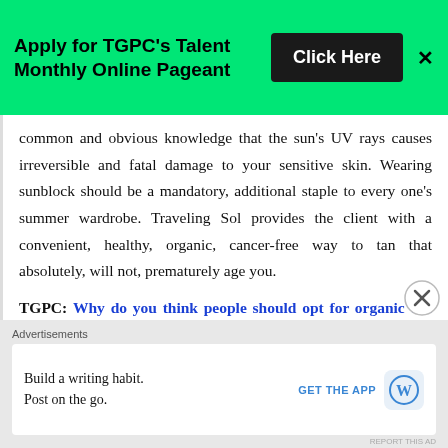[Figure (other): Green banner advertisement: 'Apply for TGPC's Talent Monthly Online Pageant' with a black 'Click Here' button and an X close button]
common and obvious knowledge that the sun's UV rays causes irreversible and fatal damage to your sensitive skin. Wearing sunblock should be a mandatory, additional staple to every one's summer wardrobe. Traveling Sol provides the client with a convenient, healthy, organic, cancer-free way to tan that absolutely, will not, prematurely age you.
TGPC: Why do you think people should opt for organic tan compared to other methods?
[Figure (other): Close/dismiss circle button (X in circle)]
Advertisements
Build a writing habit. Post on the go. GET THE APP [WordPress logo]